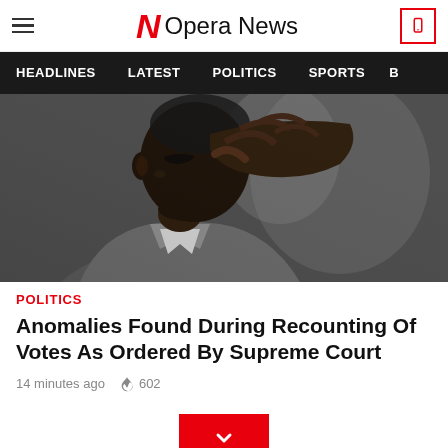Opera News
HEADLINES   LATEST   POLITICS   SPORTS   B
[Figure (photo): Close-up photo of a Black man in a grey suit, rubbing his eye/nose with his hand, appearing distressed or emotional.]
POLITICS
Anomalies Found During Recounting Of Votes As Ordered By Supreme Court
14 minutes ago  🔥 602